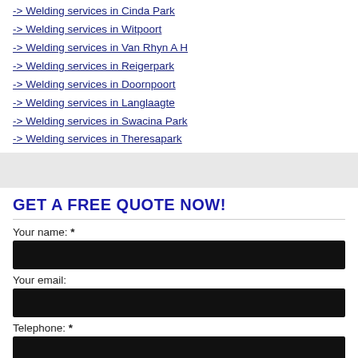-> Welding services in Cinda Park
-> Welding services in Witpoort
-> Welding services in Van Rhyn A H
-> Welding services in Reigerpark
-> Welding services in Doornpoort
-> Welding services in Langlaagte
-> Welding services in Swacina Park
-> Welding services in Theresapark
GET A FREE QUOTE NOW!
Your name: *
Your email:
Telephone: *
Area: *